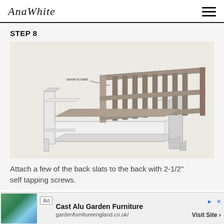AnaWhite
STEP 8
[Figure (engineering-diagram): 3D sketch/diagram of a wooden outdoor sofa/bench frame showing back slats attached to the back frame. The sofa is drawn in a perspective view with light gray/white frame and darker brown/gray back slats. A label reads 'screw to back' with an arrow pointing to the back attachment area.]
Attach a few of the back slats to the back with 2-1/2" self tapping screws.
[Figure (other): Advertisement banner for Cast Alu Garden Furniture from gardenfurnitureengland.co.uk with a Visit Site button.]